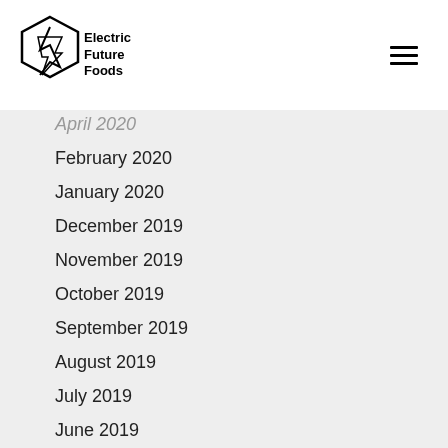Electric Future Foods
April 2020
February 2020
January 2020
December 2019
November 2019
October 2019
September 2019
August 2019
July 2019
June 2019
May 2019